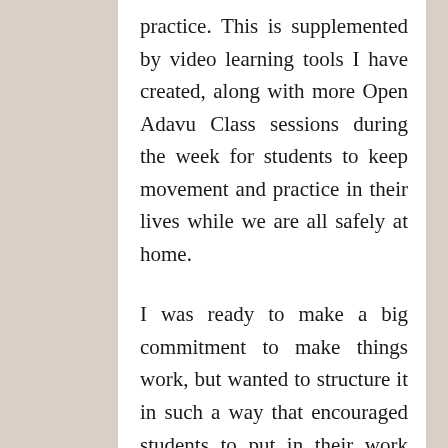practice. This is supplemented by video learning tools I have created, along with more Open Adavu Class sessions during the week for students to keep movement and practice in their lives while we are all safely at home.
I was ready to make a big commitment to make things work, but wanted to structure it in such a way that encouraged students to put in their work also; virtual hands reaching